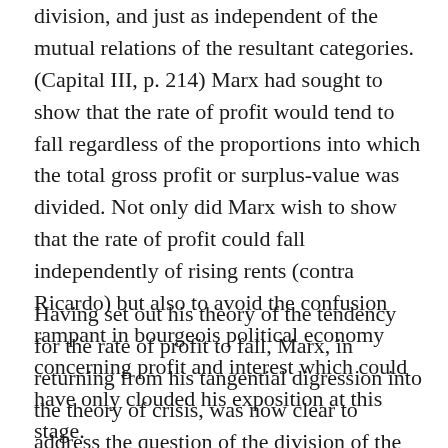division, and just as independent of the mutual relations of the resultant categories. (Capital III, p. 214) Marx had sought to show that the rate of profit would tend to fall regardless of the proportions into which the total gross profit or surplus-value was divided. Not only did Marx wish to show that the rate of profit could fall independently of rising rents (contra Ricardo) but also to avoid the confusion rampant in bourgeois political economy concerning profit and interest which could have only clouded his exposition at this stage.
Having set out his theory of the tendency for the rate of profit to fall, Marx, in returning from his tangential digression into the theory of crisis, was now clear to address the question of the division of the gross profit into interest and profit-on-enterprise and the